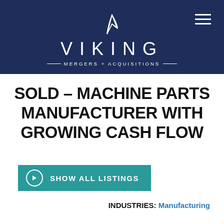[Figure (logo): Viking Mergers + Acquisitions logo on dark navy background with hamburger menu icon]
SOLD – MACHINE PARTS MANUFACTURER WITH GROWING CASH FLOW
SHOW ALL LISTINGS
INDUSTRIES: Manufacturing